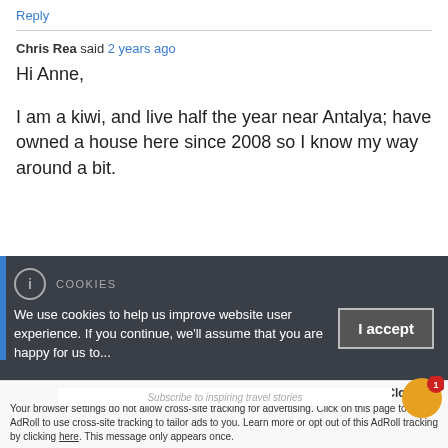Reply
Chris Rea said 2 years ago
Hi Anne,
I am a kiwi, and live half the year near Antalya; have owned a house here since 2008 so I know my way around a bit.
COOKIES
We use cookies to help us improve website user experience. If you continue, we'll assume that you are happy for us to...
I accept
Accept and Close ×
Your browser settings do not allow cross-site tracking for advertising. Click on this page to allow AdRoll to use cross-site tracking to tailor ads to you. Learn more or opt out of this AdRoll tracking by clicking here. This message only appears once.